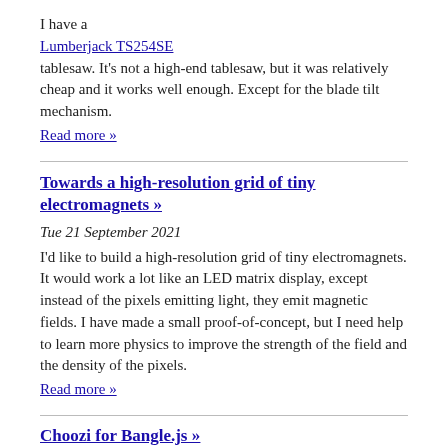I have a Lumberjack TS254SE tablesaw. It's not a high-end tablesaw, but it was relatively cheap and it works well enough. Except for the blade tilt mechanism.
Read more »
Towards a high-resolution grid of tiny electromagnets »
Tue 21 September 2021
I'd like to build a high-resolution grid of tiny electromagnets. It would work a lot like an LED matrix display, except instead of the pixels emitting light, they emit magnetic fields. I have made a small proof-of-concept, but I need help to learn more physics to improve the strength of the field and the density of the pixels.
Read more »
Choozi for Bangle.js »